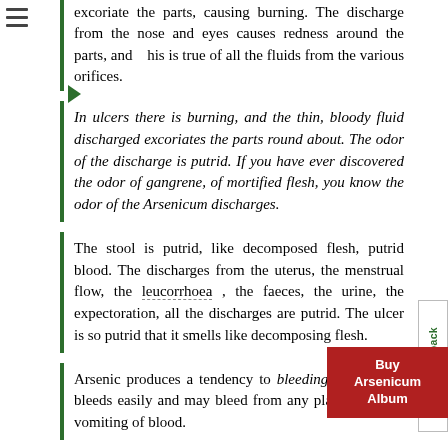excoriate the parts, causing burning. The discharge from the nose and eyes causes redness around the parts, and this is true of all the fluids from the various orifices.
In ulcers there is burning, and the thin, bloody fluid discharged excoriates the parts round about. The odor of the discharge is putrid. If you have ever discovered the odor of gangrene, of mortified flesh, you know the odor of the Arsenicum discharges.
The stool is putrid, like decomposed flesh, putrid blood. The discharges from the uterus, the menstrual flow, the leucorrhoea, the faeces, the urine, the expectoration, all the discharges are putrid. The ulcer is so putrid that it smells like decomposing flesh.
Arsenic produces a tendency to bleeding The patient bleeds easily and may bleed from any place. There is vomiting of blood.
bleeding from the lungs and throat. Bloody discharge from the mucous membrane, at times, when inflammation is running high.
haemorrhage from the bowels, kidneys, bladder, and